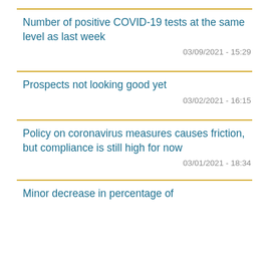Number of positive COVID-19 tests at the same level as last week
03/09/2021 - 15:29
Prospects not looking good yet
03/02/2021 - 16:15
Policy on coronavirus measures causes friction, but compliance is still high for now
03/01/2021 - 18:34
Minor decrease in percentage of